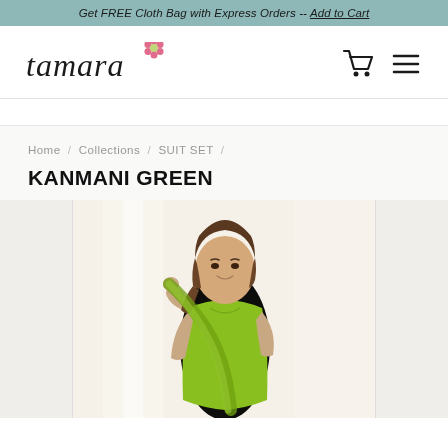Get FREE Cloth Bag with Express Orders -- Add to Cart
[Figure (logo): Tamara brand logo with stylized italic text and pink flower accent]
[Figure (other): Shopping cart icon and hamburger menu icon in navigation bar]
Home / Collections / SUIT SET /
KANMANI GREEN
[Figure (photo): A woman wearing a lime green suit set, holding the dupatta, smiling, photographed in a bright indoor setting]